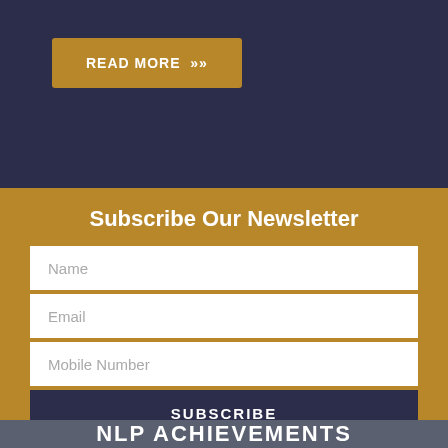READ MORE »
Subscribe Our Newsletter
Name
Email
Mobile Number
SUBSCRIBE
NLP ACHIEVEMENTS